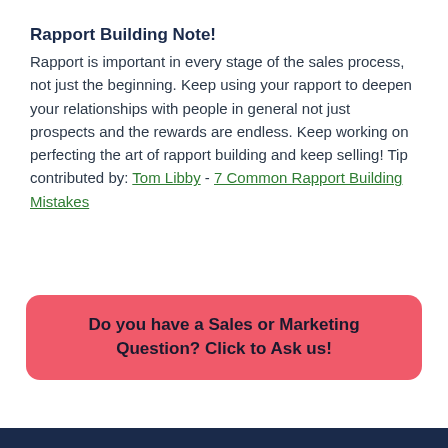Rapport Building Note!
Rapport is important in every stage of the sales process, not just the beginning. Keep using your rapport to deepen your relationships with people in general not just prospects and the rewards are endless. Keep working on perfecting the art of rapport building and keep selling! Tip contributed by: Tom Libby - 7 Common Rapport Building Mistakes
Do you have a Sales or Marketing Question? Click to Ask us!